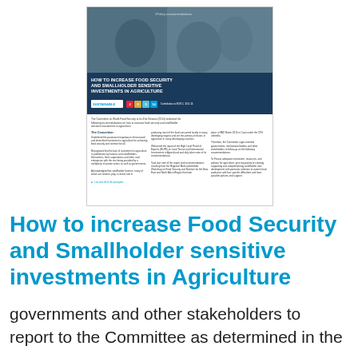[Figure (other): Thumbnail of a policy recommendations document titled 'How to Increase Food Security and Smallholder Sensitive Investments in Agriculture' showing a cover photo of people in a field meeting, UN SDG icons, and multi-column text body.]
How to increase Food Security and Smallholder sensitive investments in Agriculture
governments and other stakeholders to report to the Committee as determined in the